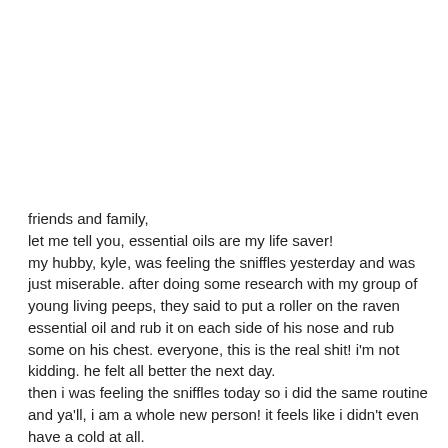friends and family,
let me tell you, essential oils are my life saver!
my hubby, kyle, was feeling the sniffles yesterday and was just miserable. after doing some research with my group of young living peeps, they said to put a roller on the raven essential oil and rub it on each side of his nose and rub some on his chest. everyone, this is the real shit! i'm not kidding. he felt all better the next day.
then i was feeling the sniffles today so i did the same routine and ya'll, i am a whole new person! it feels like i didn't even have a cold at all.
i strongly recommend everyone getting the raven essential oil especially with the north carolina weather taking a turn. it is